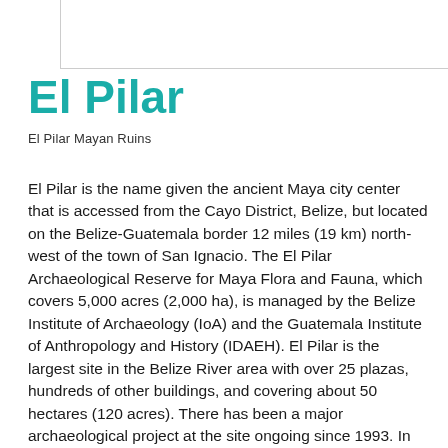El Pilar
El Pilar Mayan Ruins
El Pilar is the name given the ancient Maya city center that is accessed from the Cayo District, Belize, but located on the Belize-Guatemala border 12 miles (19 km) north-west of the town of San Ignacio. The El Pilar Archaeological Reserve for Maya Flora and Fauna, which covers 5,000 acres (2,000 ha), is managed by the Belize Institute of Archaeology (IoA) and the Guatemala Institute of Anthropology and History (IDAEH). El Pilar is the largest site in the Belize River area with over 25 plazas, hundreds of other buildings, and covering about 50 hectares (120 acres). There has been a major archaeological project at the site ongoing since 1993. In 1997 El Pilar was listed on World Monument Fund's 100 Most Endangered Sites in the World.